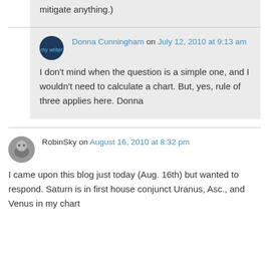mitigate anything.)
Donna Cunningham on July 12, 2010 at 9:13 am
I don't mind when the question is a simple one, and I wouldn't need to calculate a chart. But, yes, rule of three applies here. Donna
RobinSky on August 16, 2010 at 8:32 pm
I came upon this blog just today (Aug. 16th) but wanted to respond. Saturn is in first house conjunct Uranus, Asc., and Venus in my chart